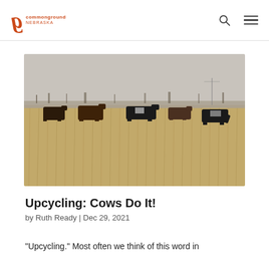commonground NEBRASKA
[Figure (photo): Cattle grazing in a harvested cornfield, with dried corn stalks covering the ground and a flat horizon with bare trees in the distance under an overcast sky.]
Upcycling: Cows Do It!
by Ruth Ready | Dec 29, 2021
“Upcycling.” Most often we think of this word in